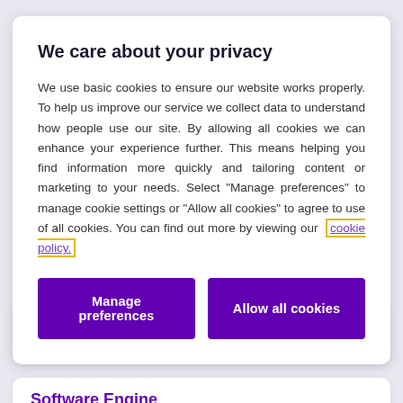We care about your privacy
We use basic cookies to ensure our website works properly. To help us improve our service we collect data to understand how people use our site. By allowing all cookies we can enhance your experience further. This means helping you find information more quickly and tailoring content or marketing to your needs. Select "Manage preferences" to manage cookie settings or "Allow all cookies" to agree to use of all cookies. You can find out more by viewing our cookie policy.
Manage preferences | Allow all cookies
Chennai, India
Posted 3 days ago                               R-00184523
Software Engineer